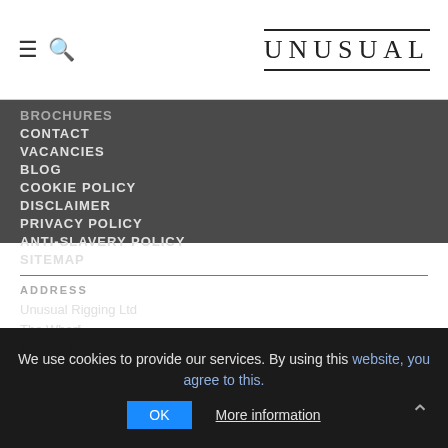≡ 🔍  UNUSUAL
BROCHURES
CONTACT
VACANCIES
BLOG
COOKIE POLICY
DISCLAIMER
PRIVACY POLICY
ANTI-SLAVERY POLICY
SITEMAP
ADDRESS
Unusual Rigging Ltd
The Wharf
Bugbrooke
Northamptonshire
NN7 3QB
UK

T. +44 (0)1 604 830083
We use cookies to provide our services. By using this website, you agree to this.